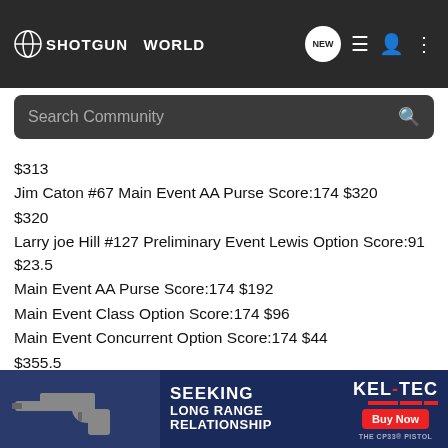SHOTGUN WORLD — [NEW] [list] [user] [menu]
Search Community
$313
Jim Caton #67 Main Event AA Purse Score:174 $320
$320
Larry joe Hill #127 Preliminary Event Lewis Option Score:91 $23.5
Main Event AA Purse Score:174 $192
Main Event Class Option Score:174 $96
Main Event Concurrent Option Score:174 $44
$355.5
Kenneth Martin #31 Preliminary Event D Purse Score:84 $120
Preliminary Event Class Option Score:84 $42
Preliminary Event Lewis Option Score:84 $58.75
Gamaliel Trail Option D Purse Score:153 $0
Gamaliel ...
Main Ev...
[Figure (screenshot): Advertisement banner for Kel-Tec CP33 pistol with text SEEKING LONG RANGE RELATIONSHIP and Buy Now button]